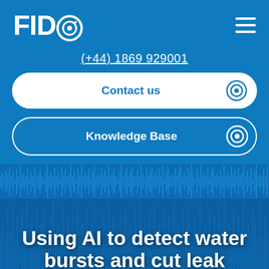FIDO
(+44) 1869 929001
Contact us
Knowledge Base
[Figure (other): Audio waveform visualization on blue background]
Using AI to detect water bursts and cut leak response times
By Neil Edwards